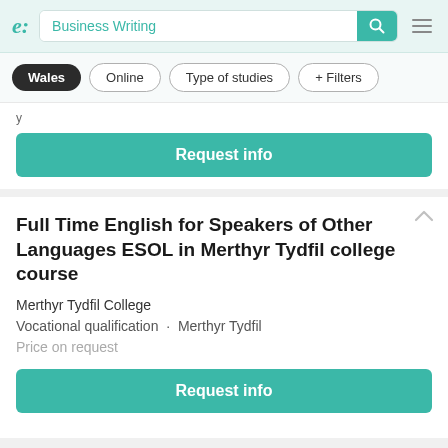e: Business Writing [search bar] [hamburger menu]
Wales
Online
Type of studies
+ Filters
Request info
Full Time English for Speakers of Other Languages ESOL in Merthyr Tydfil college course
Merthyr Tydfil College
Vocational qualification · Merthyr Tydfil
Price on request
Request info